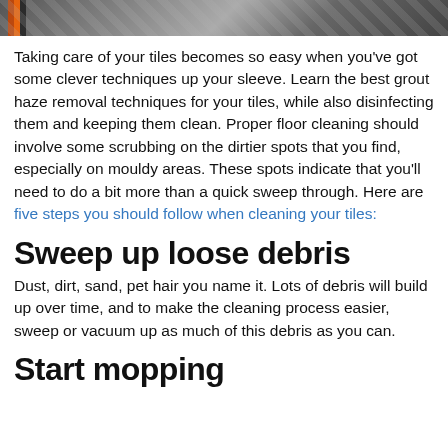[Figure (photo): Partial photo strip at top of page showing tile floor cleaning scene with mop, visible as a cropped band at the very top]
Taking care of your tiles becomes so easy when you've got some clever techniques up your sleeve. Learn the best grout haze removal techniques for your tiles, while also disinfecting them and keeping them clean. Proper floor cleaning should involve some scrubbing on the dirtier spots that you find, especially on mouldy areas. These spots indicate that you'll need to do a bit more than a quick sweep through. Here are five steps you should follow when cleaning your tiles:
Sweep up loose debris
Dust, dirt, sand, pet hair you name it. Lots of debris will build up over time, and to make the cleaning process easier, sweep or vacuum up as much of this debris as you can.
Start mopping